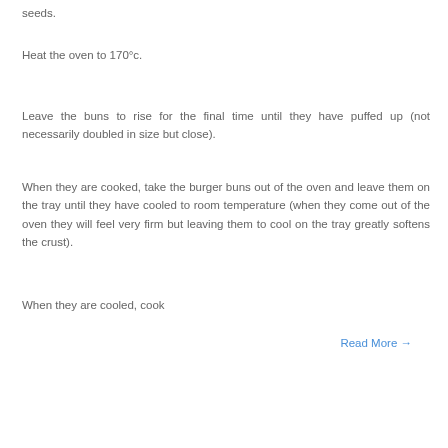seeds.
Heat the oven to 170°c.
Leave the buns to rise for the final time until they have puffed up (not necessarily doubled in size but close).
When they are cooked, take the burger buns out of the oven and leave them on the tray until they have cooled to room temperature (when they come out of the oven they will feel very firm but leaving them to cool on the tray greatly softens the crust).
When they are cooled, cook
Read More →